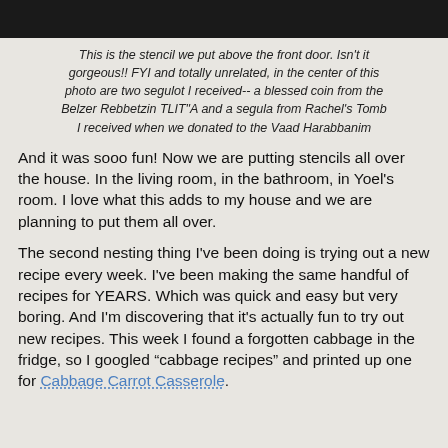[Figure (photo): Dark photo strip at the top of the page, partially cut off]
This is the stencil we put above the front door. Isn't it gorgeous!! FYI and totally unrelated, in the center of this photo are two segulot I received-- a blessed coin from the Belzer Rebbetzin TLIT"A and a segula from Rachel's Tomb I received when we donated to the Vaad Harabbanim
And it was sooo fun! Now we are putting stencils all over the house. In the living room, in the bathroom, in Yoel's room. I love what this adds to my house and we are planning to put them all over.
The second nesting thing I've been doing is trying out a new recipe every week. I've been making the same handful of recipes for YEARS. Which was quick and easy but very boring. And I'm discovering that it's actually fun to try out new recipes. This week I found a forgotten cabbage in the fridge, so I googled "cabbage recipes" and printed up one for Cabbage Carrot Casserole.